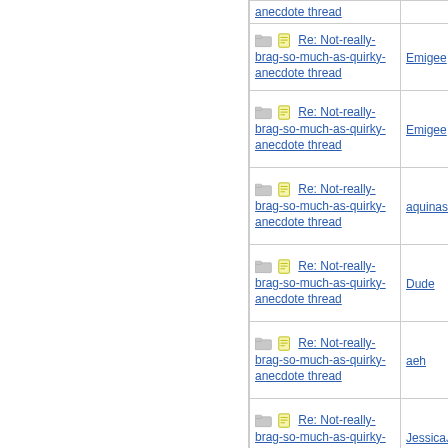| Thread | Author |
| --- | --- |
| Re: Not-really-brag-so-much-as-quirky-anecdote thread | Emigee |
| Re: Not-really-brag-so-much-as-quirky-anecdote thread | Emigee |
| Re: Not-really-brag-so-much-as-quirky-anecdote thread | aquinas |
| Re: Not-really-brag-so-much-as-quirky-anecdote thread | Dude |
| Re: Not-really-brag-so-much-as-quirky-anecdote thread | aeh |
| Re: Not-really-brag-so-much-as-quirky-anecdote thread | JessicaJu |
| Re: Not- |  |